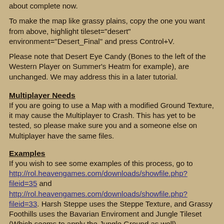about complete now.
To make the map like grassy plains, copy the one you want from above, highlight tileset="desert" environment="Desert_Final" and press Control+V.
Please note that Desert Eye Candy (Bones to the left of the Western Player on Summer's Heatm for example), are unchanged. We may address this in a later tutorial.
Multiplayer Needs
If you are going to use a Map with a modified Ground Texture, it may cause the Multiplayer to Crash. This has yet to be tested, so please make sure you and a someone else on Multiplayer have the same files.
Examples
If you wish to see some examples of this process, go to http://rol.heavengames.com/downloads/showfile.php?fileid=35 and http://rol.heavengames.com/downloads/showfile.php?fileid=33. Harsh Steppe uses the Steppe Texture, and Grassy Foothills uses the Bavarian Enviroment and Jungle Tileset (Which seems to apply the Jungle Ground as well).
NEXT TIME
This is part one of the 4 Tutorials on Modding Scenarios without the Scenario Editor. In Part 2, we will look at adding custom descriptions for scenarios, and guards for neutral sites.
Any Problems?
If you have any problems or questions, for instance you need a